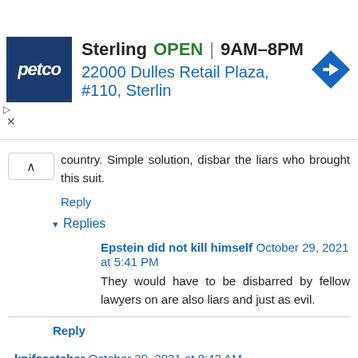[Figure (screenshot): Petco advertisement banner showing Sterling location, OPEN 9AM-8PM, address 22000 Dulles Retail Plaza, #110, Sterlin, with navigation icon]
country. Simple solution, disbar the liars who brought this suit.
Reply
Replies
Epstein did not kill himself October 29, 2021 at 5:41 PM
They would have to be disbarred by fellow lawyers on are also liars and just as evil.
Reply
knifecatcher October 29, 2021 at 8:42 AM
Facebook CEO Mark Zuckerberg